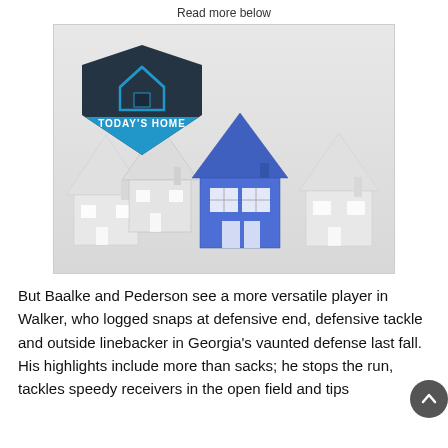Read more below
[Figure (photo): Advertisement image showing a row of small white 3D house models with one blue house in the center, overlaid with the 'Today's Home' shield logo in the upper left.]
But Baalke and Pederson see a more versatile player in Walker, who logged snaps at defensive end, defensive tackle and outside linebacker in Georgia's vaunted defense last fall. His highlights include more than sacks; he stops the run, tackles speedy receivers in the open field and tips